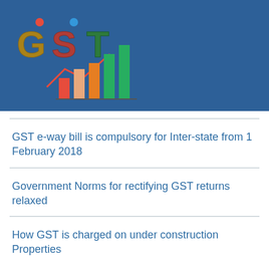[Figure (logo): GST logo with colorful bar chart graphic on blue banner background]
GST e-way bill is compulsory for Inter-state from 1 February 2018
Government Norms for rectifying GST returns relaxed
How GST is charged on under construction Properties